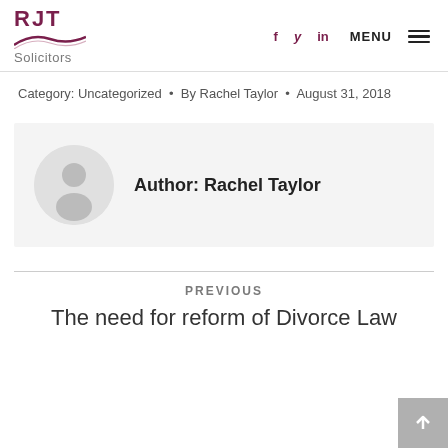RJT Solicitors
Category: Uncategorized · By Rachel Taylor · August 31, 2018
Author: Rachel Taylor
PREVIOUS
The need for reform of Divorce Law